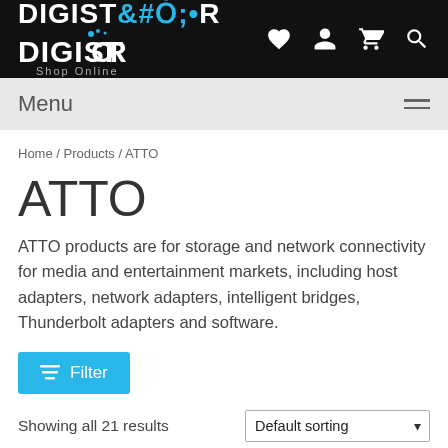DIGISTOR Shop Online
Menu
Home / Products / ATTO
ATTO
ATTO products are for storage and network connectivity for media and entertainment markets, including host adapters, network adapters, intelligent bridges, Thunderbolt adapters and software.
Filter
Showing all 21 results
Default sorting